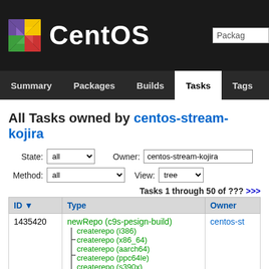[Figure (logo): CentOS logo with colorful pinwheel and CentOS text in white on black background]
Summary | Packages | Builds | Tasks | Tags | Bui...
All Tasks owned by centos-stream-kojira
State: all | Owner: centos-stream-kojira
Method: all | View: tree
Tasks 1 through 50 of ??? >>>
| ID ▼ | Type | Owner |
| --- | --- | --- |
| 1435420 | newRepo (c9s-pesign-build) | centos-st... |
|  | ├─createrepo (i386) |  |
|  | ├─createrepo (x86_64) |  |
|  | ├─createrepo (aarch64) |  |
|  | ├─createrepo (ppc64le) |  |
|  | └─createrepo (s390x) |  |